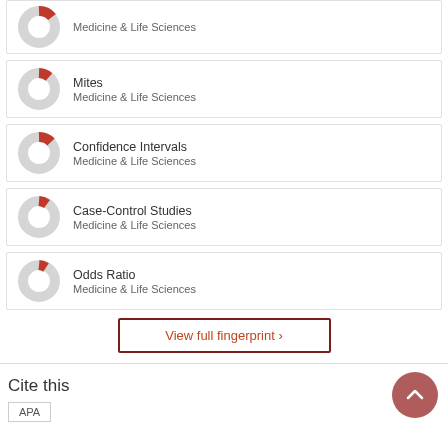[Figure (donut-chart): Partial donut chart for Medicine & Life Sciences (top item, partially visible)]
[Figure (donut-chart): Small donut chart with red slice for Mites, Medicine & Life Sciences]
Mites
Medicine & Life Sciences
[Figure (donut-chart): Small donut chart with red slice for Confidence Intervals, Medicine & Life Sciences]
Confidence Intervals
Medicine & Life Sciences
[Figure (donut-chart): Small donut chart with red slice for Case-Control Studies, Medicine & Life Sciences]
Case-Control Studies
Medicine & Life Sciences
[Figure (donut-chart): Small donut chart with red slice for Odds Ratio, Medicine & Life Sciences]
Odds Ratio
Medicine & Life Sciences
View full fingerprint ›
Cite this